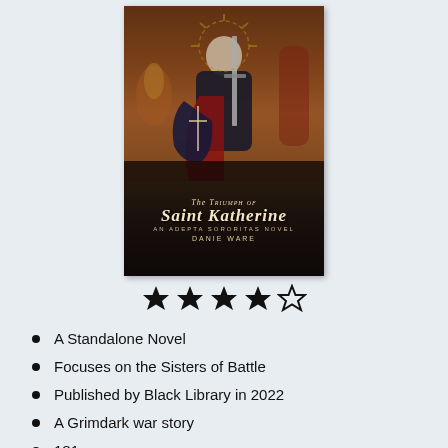[Figure (illustration): Book cover of 'The Triumph of Saint Katherine: An Adepta Sororitas Novel' by Danie Ware, showing an armored warrior woman holding a sword and shield, with a dramatic dark fantasy battle scene background, below a partial title 'NOTH' visible at top. Below the cover are four filled stars and one empty star indicating a 4/5 rating.]
A Standalone Novel
Focuses on the Sisters of Battle
Published by Black Library in 2022
A Grimdark war story
181 pages